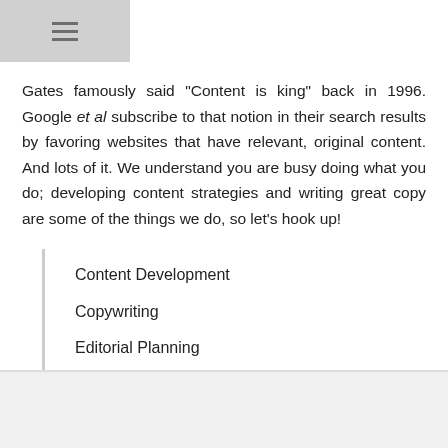(menu icon)
Gates famously said "Content is king" back in 1996. Google et al subscribe to that notion in their search results by favoring websites that have relevant, original content. And lots of it. We understand you are busy doing what you do; developing content strategies and writing great copy are some of the things we do, so let's hook up!
Content Development
Copywriting
Editorial Planning
Content Marketing
Research & Analysis